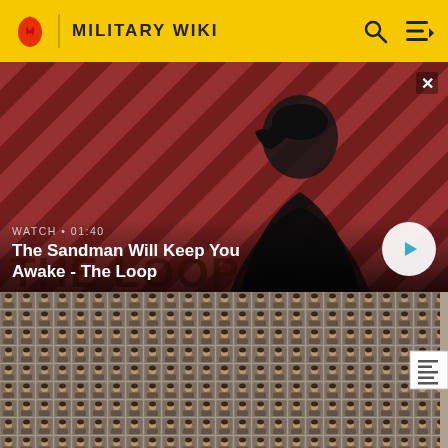MILITARY WIKI
[Figure (screenshot): Video thumbnail for 'The Sandman Will Keep You Awake - The Loop' showing a dark figure with a raven on red striped background. Watch time 01:40.]
The Sandman Will Keep You Awake - The Loop
[Figure (photo): Dense grid of small portrait photos of many individuals, arranged in rows and columns filling the lower portion of the screen.]